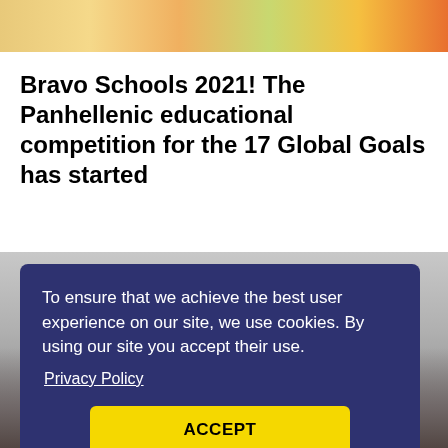[Figure (photo): Colorful food/vegetable items arranged in a horizontal banner strip at the top of the page]
Bravo Schools 2021! The Panhellenic educational competition for the 17 Global Goals has started
[Figure (photo): Person using a laptop computer, visible hands on keyboard, blurred background]
To ensure that we achieve the best user experience on our site, we use cookies. By using our site you accept their use.
Privacy Policy
ACCEPT